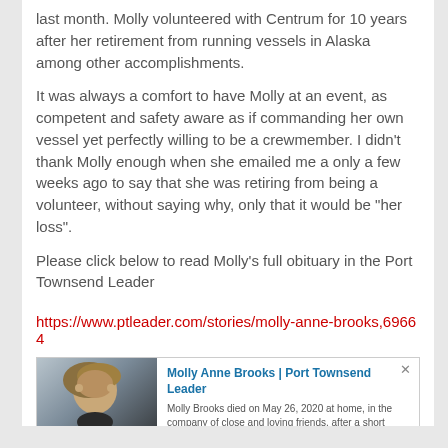last month. Molly volunteered with Centrum for 10 years after her retirement from running vessels in Alaska among other accomplishments.
It was always a comfort to have Molly at an event, as competent and safety aware as if commanding her own vessel yet perfectly willing to be a crewmember. I didn’t thank Molly enough when she emailed me a only a few weeks ago to say that she was retiring from being a volunteer, without saying why, only that it would be “her loss”.
Please click below to read Molly’s full obituary in the Port Townsend Leader
https://www.ptleader.com/stories/molly-anne-brooks,69664
[Figure (screenshot): Web preview card for Molly Anne Brooks | Port Townsend Leader article, showing a photo of Molly Brooks and a short excerpt: 'Molly Brooks died on May 26, 2020 at home, in the company of close and loving friends, after a short but intense battle with liver cancer. She was 74 years old.' with URL www.ptleader.com]